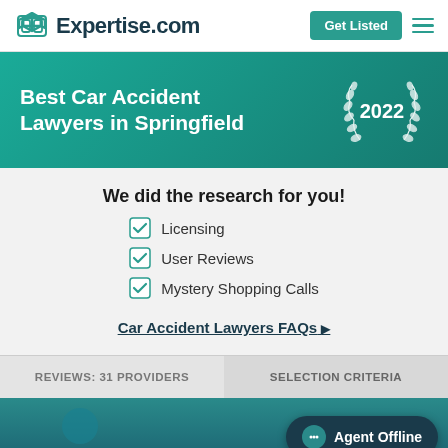Expertise.com — Get Listed
Best Car Accident Lawyers in Springfield 2022
We did the research for you!
Licensing
User Reviews
Mystery Shopping Calls
Car Accident Lawyers FAQs
REVIEWS: 31 PROVIDERS
SELECTION CRITERIA
Agent Offline